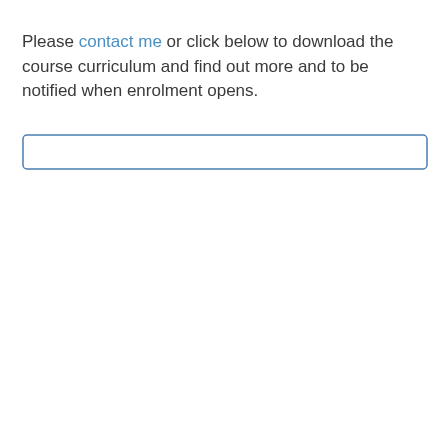Please contact me or click below to download the course curriculum and find out more and to be notified when enrolment opens.
[Figure (other): A rectangular button outline with a rounded border, representing a download/click action button below the text.]